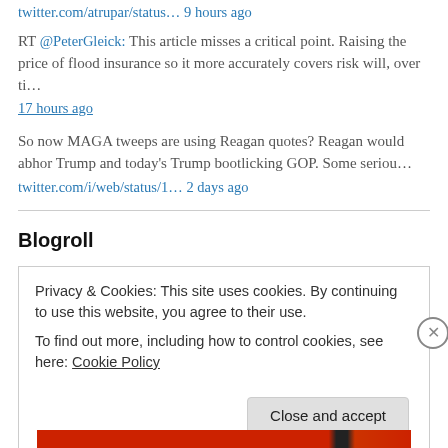twitter.com/atrupar/status… 9 hours ago
RT @PeterGleick: This article misses a critical point. Raising the price of flood insurance so it more accurately covers risk will, over ti…
17 hours ago
So now MAGA tweeps are using Reagan quotes? Reagan would abhor Trump and today's Trump bootlicking GOP. Some seriou…
twitter.com/i/web/status/1… 2 days ago
Blogroll
Privacy & Cookies: This site uses cookies. By continuing to use this website, you agree to their use.
To find out more, including how to control cookies, see here: Cookie Policy
Close and accept